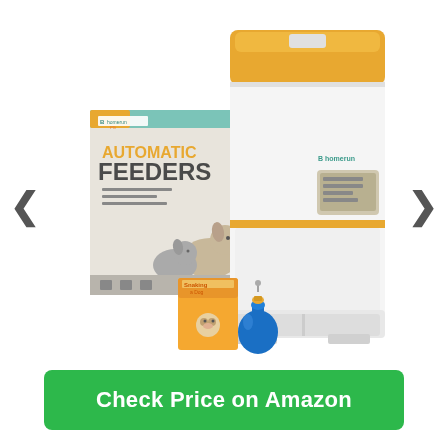[Figure (photo): Automatic pet feeder product image showing a white and gold automatic feeder device with LCD display, alongside its retail box labeled 'Automatic Feeders', and small accessories including a dog treat bag and a blue toy. Navigation arrows on left and right sides of the image carousel.]
Check Price on Amazon